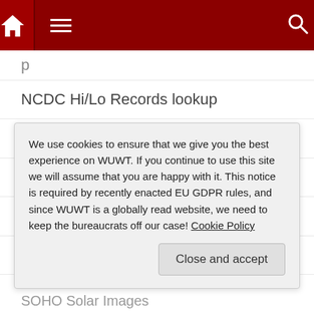WUWT navigation bar with home, menu, and search icons
NCDC Hi/Lo Records lookup
Niche Modeling – David Stockwell
No Frakking Consensus
No Tricks Zone
NYT Dot Earth – Revkin
Our World in Data
Planet Gore
Real Climate (partially visible)
We use cookies to ensure that we give you the best experience on WUWT. If you continue to use this site we will assume that you are happy with it. This notice is required by recently enacted EU GDPR rules, and since WUWT is a globally read website, we need to keep the bureaucrats off our case! Cookie Policy
SOHO Solar Images (partially visible)